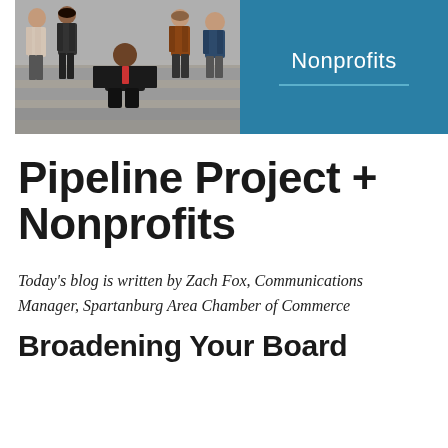[Figure (photo): Group photo of people sitting on stairs, alongside a teal/blue banner panel with the word 'Nonprofits' and a horizontal divider line]
Pipeline Project + Nonprofits
Today's blog is written by Zach Fox, Communications Manager, Spartanburg Area Chamber of Commerce
Broadening Your Board